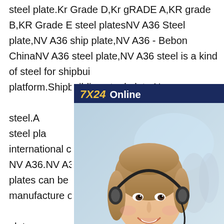steel plate.Kr Grade D,Kr gRADE A,KR grade B,KR Grade E steel platesNV A36 Steel plate,NV A36 ship plate,NV A36 - Bebon ChinaNV A36 steel plate,NV A36 steel is a kind of steel for shipbuilding and platform.Shipbuilding steel plate NV A36 is the high tensile strength steel.As a professional shipbuilding steel plate exporter,Bebon international can supply steel plate NV A36.NV A36 shipbuilding steel plates can be used in the manufacture of the ship's hull structure.NV A36 Steel plate,NV A36 ship plate,NV A36 steel supplier NV A36 Shipbuilding steel plate NV A36 steel plate,NV A36 steel is a kind of steel for shipbuilding and platform.Shipbuilding steel plate NV A36 is the high tensile strength steel.As a professional shipbuilding steel plate
[Figure (other): Customer service chat widget with '7X24 Online' header, photo of a smiling woman with headset, 'Hello,may I help you?' text, and 'Get Latest Price' button]